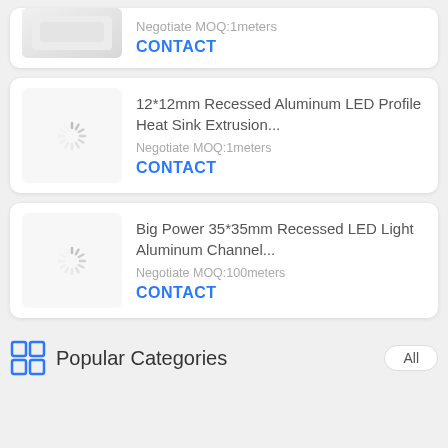[Figure (screenshot): Partial product card at top with a photo of LED aluminum profile product (white/gray), showing CONTACT button in blue]
CONTACT
[Figure (photo): Loading spinner icon (product image loading)]
12*12mm Recessed Aluminum LED Profile Heat Sink Extrusion...
Negotiate MOQ:1meters
CONTACT
[Figure (photo): Loading spinner icon (product image loading)]
Big Power 35*35mm Recessed LED Light Aluminum Channel...
Negotiate MOQ:100meters
CONTACT
Popular Categories
All